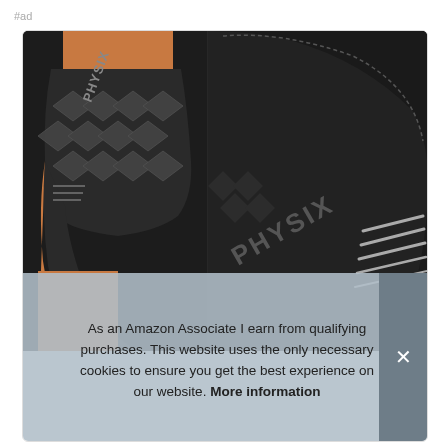#ad
[Figure (photo): Product photo showing two Physix knee compression sleeves — left side shows a black sleeve with diamond/mesh pattern worn on a bent knee, right side shows a close-up of the same black sleeve with 'PHYSIX' text and stripe pattern.]
As an Amazon Associate I earn from qualifying purchases. This website uses the only necessary cookies to ensure you get the best experience on our website. More information